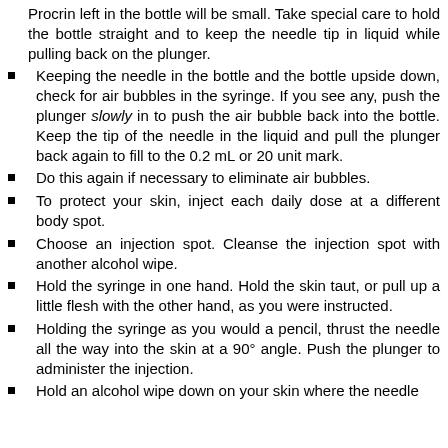Procrin left in the bottle will be small. Take special care to hold the bottle straight and to keep the needle tip in liquid while pulling back on the plunger.
Keeping the needle in the bottle and the bottle upside down, check for air bubbles in the syringe. If you see any, push the plunger slowly in to push the air bubble back into the bottle. Keep the tip of the needle in the liquid and pull the plunger back again to fill to the 0.2 mL or 20 unit mark.
Do this again if necessary to eliminate air bubbles.
To protect your skin, inject each daily dose at a different body spot.
Choose an injection spot. Cleanse the injection spot with another alcohol wipe.
Hold the syringe in one hand. Hold the skin taut, or pull up a little flesh with the other hand, as you were instructed.
Holding the syringe as you would a pencil, thrust the needle all the way into the skin at a 90° angle. Push the plunger to administer the injection.
Hold an alcohol wipe down on your skin where the needle